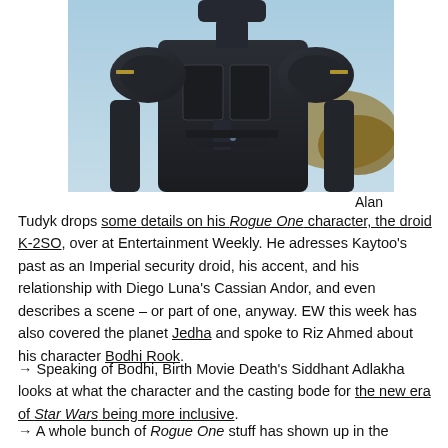[Figure (photo): Close-up of K-2SO, a dark humanoid robot/droid character from Rogue One, photographed outdoors with a blurred background.]
Alan Tudyk drops some details on his Rogue One character, the droid K-2SO, over at Entertainment Weekly. He adresses Kaytoo's past as an Imperial security droid, his accent, and his relationship with Diego Luna's Cassian Andor, and even describes a scene – or part of one, anyway. EW this week has also covered the planet Jedha and spoke to Riz Ahmed about his character Bodhi Rook.
→ Speaking of Bodhi, Birth Movie Death's Siddhant Adlakha looks at what the character and the casting bode for the new era of Star Wars being more inclusive.
→ A whole bunch of Rogue One stuff has shown up in the